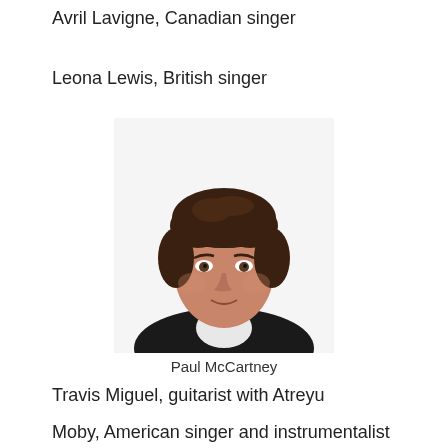Avril Lavigne, Canadian singer
Leona Lewis, British singer
[Figure (photo): Portrait photo of Paul McCartney, a middle-aged man with dark brown hair wearing a black jacket and white shirt, looking at the camera against a white background.]
Paul McCartney
Travis Miguel, guitarist with Atreyu
Moby, American singer and instrumentalist